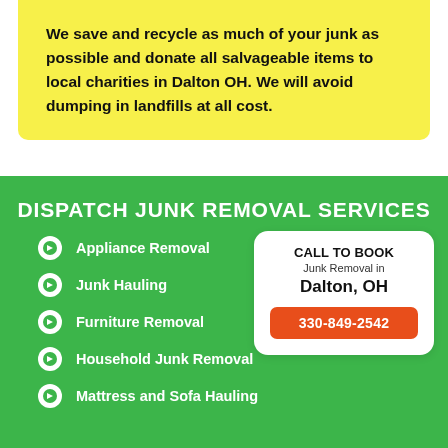We save and recycle as much of your junk as possible and donate all salvageable items to local charities in Dalton OH. We will avoid dumping in landfills at all cost.
DISPATCH JUNK REMOVAL SERVICES
Appliance Removal
Junk Hauling
Furniture Removal
Household Junk Removal
Mattress and Sofa Hauling
CALL TO BOOK
Junk Removal in
Dalton, OH
330-849-2542